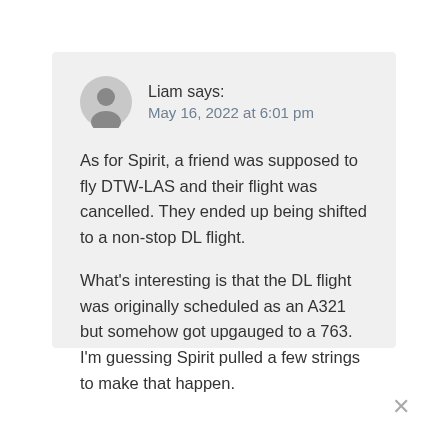Liam says:
May 16, 2022 at 6:01 pm
As for Spirit, a friend was supposed to fly DTW-LAS and their flight was cancelled. They ended up being shifted to a non-stop DL flight.
What's interesting is that the DL flight was originally scheduled as an A321 but somehow got upgauged to a 763. I'm guessing Spirit pulled a few strings to make that happen.